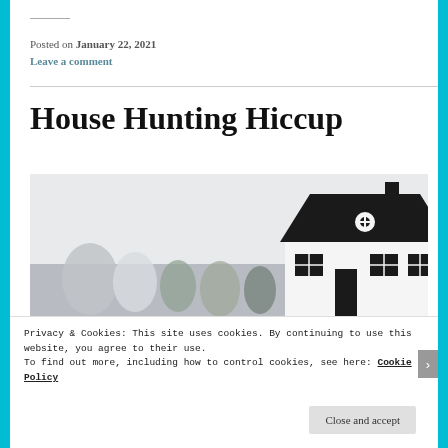Posted on January 22, 2021
Leave a comment
House Hunting Hiccup
[Figure (photo): Photo of small toy or model houses arranged on a light background, with a prominent black and white house model on the right side.]
Privacy & Cookies: This site uses cookies. By continuing to use this website, you agree to their use. To find out more, including how to control cookies, see here: Cookie Policy